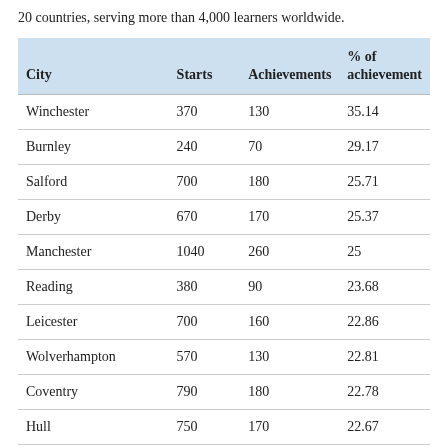20 countries, serving more than 4,000 learners worldwide.
| City | Starts | Achievements | % of achievement |
| --- | --- | --- | --- |
| Winchester | 370 | 130 | 35.14 |
| Burnley | 240 | 70 | 29.17 |
| Salford | 700 | 180 | 25.71 |
| Derby | 670 | 170 | 25.37 |
| Manchester | 1040 | 260 | 25 |
| Reading | 380 | 90 | 23.68 |
| Leicester | 700 | 160 | 22.86 |
| Wolverhampton | 570 | 130 | 22.81 |
| Coventry | 790 | 180 | 22.78 |
| Hull | 750 | 170 | 22.67 |